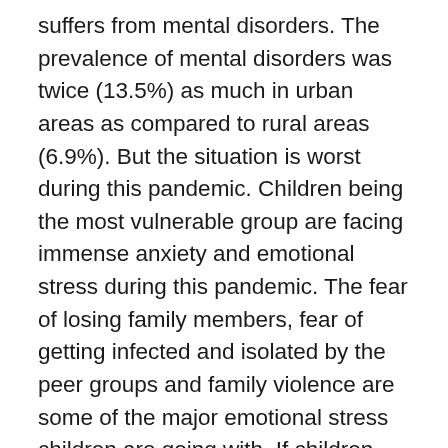suffers from mental disorders. The prevalence of mental disorders was twice (13.5%) as much in urban areas as compared to rural areas (6.9%). But the situation is worst during this pandemic. Children being the most vulnerable group are facing immense anxiety and emotional stress during this pandemic. The fear of losing family members, fear of getting infected and isolated by the peer groups and family violence are some of the major emotional stress children are going with. If children are not deal with proper care then this pandemic might left a long time effect on the mind of the children. Fear and anxiety about the covid 19 have created stress among every age group not only in India but around the globe. Fear of infection, concern